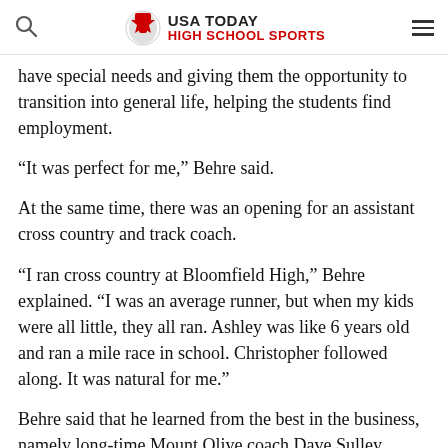USA TODAY HIGH SCHOOL SPORTS
have special needs and giving them the opportunity to transition into general life, helping the students find employment.
“It was perfect for me,” Behre said.
At the same time, there was an opening for an assistant cross country and track coach.
“I ran cross country at Bloomfield High,” Behre explained. “I was an average runner, but when my kids were all little, they all ran. Ashley was like 6 years old and ran a mile race in school. Christopher followed along. It was natural for me.”
Behre said that he learned from the best in the business, namely long-time Mount Olive coach Dave Sulley, currently the boys’ track and field coach at Delbarton.
ADVERTISEMENT